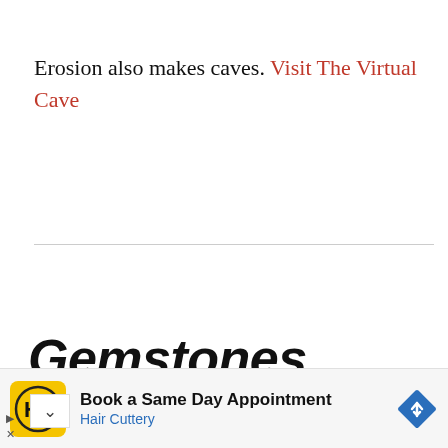Erosion also makes caves. Visit The Virtual Cave
Gemstones
[Figure (other): Advertisement banner for Hair Cuttery showing logo, 'Book a Same Day Appointment' headline, 'Hair Cuttery' subtext in blue, and a blue navigation diamond icon. Ad controls (play/close) visible at bottom left.]